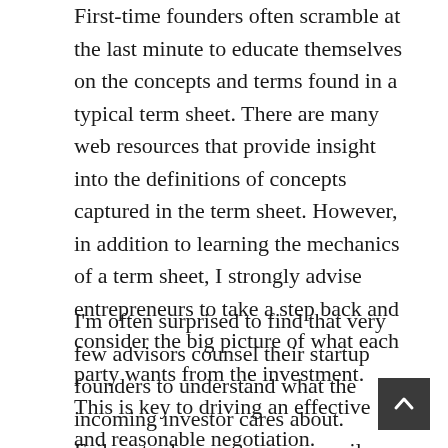First-time founders often scramble at the last minute to educate themselves on the concepts and terms found in a typical term sheet. There are many web resources that provide insight into the definitions of concepts captured in the term sheet. However, in addition to learning the mechanics of a term sheet, I strongly advise entrepreneurs to take a step back and consider the big picture of what each party wants from the investment. This is key to driving an effective and reasonable negotiation.
I'm often surprised to find that very few advisors counsel their startup founders to understand what the incoming investor cares about. Failure to do so can unnecessarily complicate negotiations. I advise founders to apply a principle from my blog posting